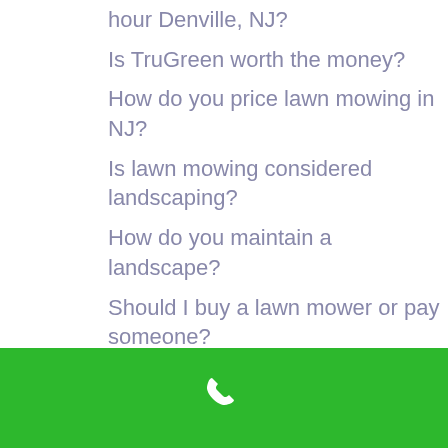hour Denville, NJ?
Is TruGreen worth the money?
How do you price lawn mowing in NJ?
Is lawn mowing considered landscaping?
How do you maintain a landscape?
Should I buy a lawn mower or pay someone?
How much does it cost to landscape a front yard?
How often should you cut your grass in NJ?
How much does TruGreen really cost?
Is it worth paying for lawn care?
Which is better lawn doctor or TruGreen  07834?
How much does it cost to landscape 1 acre?
What do you call someone who landscapes?
[Figure (other): Green footer bar with white phone icon]